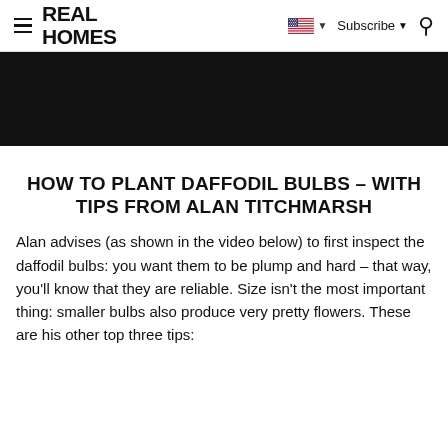REAL HOMES
[Figure (photo): Black hero image banner at top of article]
HOW TO PLANT DAFFODIL BULBS – WITH TIPS FROM ALAN TITCHMARSH
Alan advises (as shown in the video below) to first inspect the daffodil bulbs: you want them to be plump and hard – that way, you'll know that they are reliable. Size isn't the most important thing: smaller bulbs also produce very pretty flowers. These are his other top three tips: